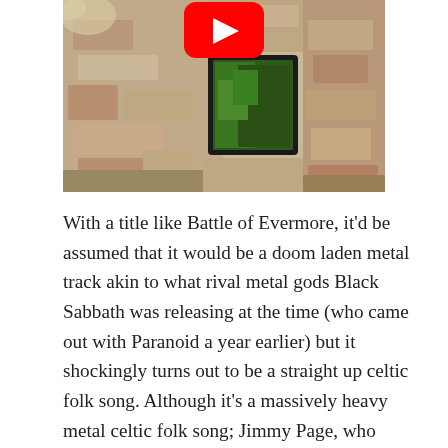[Figure (screenshot): YouTube video thumbnail showing a stone wall with a small window/opening revealing greenery, with a red YouTube play button icon at the top center.]
With a title like Battle of Evermore, it'd be assumed that it would be a doom laden metal track akin to what rival metal gods Black Sabbath was releasing at the time (who came out with Paranoid a year earlier) but it shockingly turns out to be a straight up celtic folk song. Although it's a massively heavy metal celtic folk song; Jimmy Page, who produced the album, cranks the mandolins way up to 11 on this track, showing you don't need Marshall Stacks or gain pedals to rock hard (a creed Tenacious D would heed four decades later). Taking inspiration from the Tolkien's Lord of the Rings trilogy, Plant and Fairport